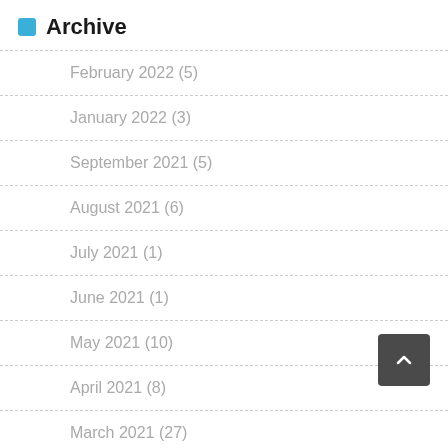Archive
February 2022 (5)
January 2022 (3)
September 2021 (5)
August 2021 (6)
July 2021 (1)
June 2021 (1)
May 2021 (10)
April 2021 (8)
March 2021 (27)
February 2021 (...)